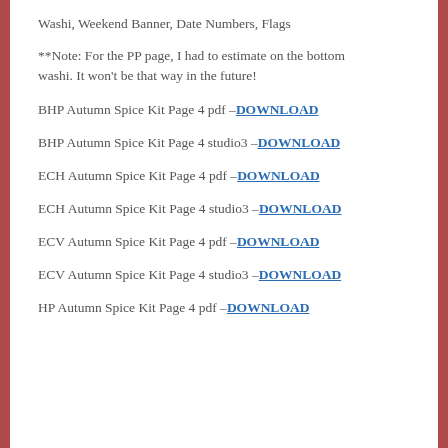Washi, Weekend Banner, Date Numbers, Flags
**Note: For the PP page, I had to estimate on the bottom washi. It won't be that way in the future!
BHP Autumn Spice Kit Page 4 pdf –DOWNLOAD
BHP Autumn Spice Kit Page 4 studio3 –DOWNLOAD
ECH Autumn Spice Kit Page 4 pdf –DOWNLOAD
ECH Autumn Spice Kit Page 4 studio3 –DOWNLOAD
ECV Autumn Spice Kit Page 4 pdf –DOWNLOAD
ECV Autumn Spice Kit Page 4 studio3 –DOWNLOAD
HP Autumn Spice Kit Page 4 pdf –DOWNLOAD